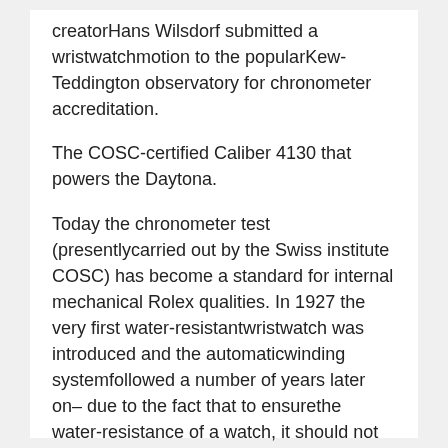creatorHans Wilsdorf submitted a wristwatchmotion to the popularKew-Teddington observatory for chronometer accreditation.
The COSC-certified Caliber 4130 that powers the Daytona.
Today the chronometer test (presentlycarried out by the Swiss institute COSC) has become a standard for internal mechanical Rolex qualities. In 1927 the very first water-resistantwristwatch was introduced and the automaticwinding systemfollowed a number of years later on– due to the fact that to ensurethe water-resistance of a watch, it should not be requiredto pull the crown every day.